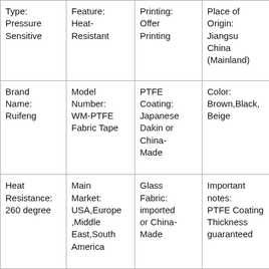| Type: Pressure Sensitive | Feature: Heat-Resistant | Printing: Offer Printing | Place of Origin: Jiangsu China (Mainland) |
| Brand Name: Ruifeng | Model Number: WM-PTFE Fabric Tape | PTFE Coating: Japanese Dakin or China-Made | Color: Brown,Black,Beige |
| Heat Resistance: 260 degree | Main Market: USA,Europe,Middle East,South America | Glass Fabric: imported or China-Made | Important notes: PTFE Coating Thickness guaranteed |